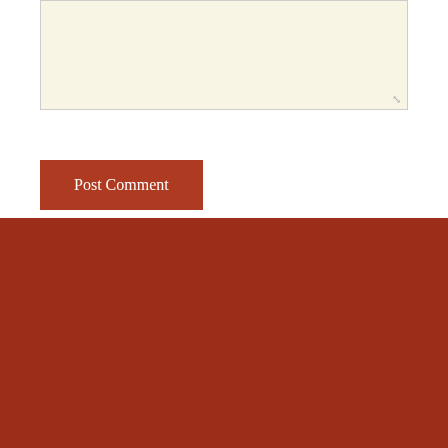[Figure (screenshot): Comment text area input box with light beige background and resize handle in bottom-right corner]
Post Comment
FRIENDS OF L'ETOILE CATERING
Orpha Events Planning
Dominique Attaway Photography
Andrea Hubbell Photography
Sarah Cramer Shields Photography
Katie Santmyer Photography
Ashley Cox Photography
Henley's Orchard